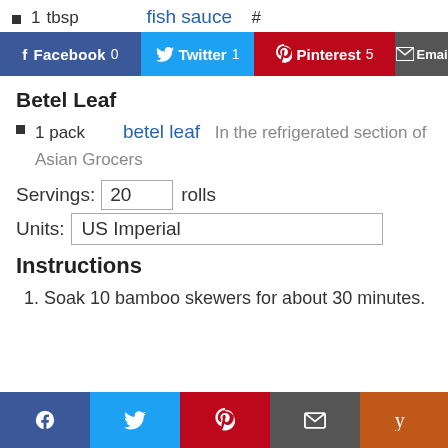1 tbsp  fish sauce  #
[Figure (other): Social sharing buttons: Facebook 0, Twitter 1, Pinterest 5, Email]
Betel Leaf
1 pack  betel leaf  In the refrigerated section of Asian Grocers
Servings: 20 rolls
Units: US Imperial
Instructions
1. Soak 10 bamboo skewers for about 30 minutes.
[Figure (other): Bottom social sharing icon bar: Facebook, Twitter, Pinterest, Email, Yummly]